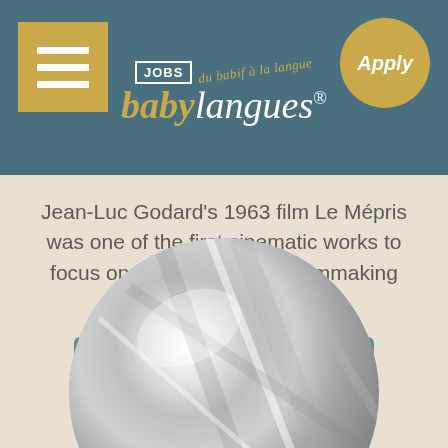babylangues JOBS - Apply
Jean-Luc Godard's 1963 film Le Mépris was one of the first cinematic works to focus on the beauty of the filmmaking process itself, and not...
Read More ›
[Figure (photo): Silver metallic circular film reel or disc with folded/crumpled reflective surface, partially cropped at bottom of page]